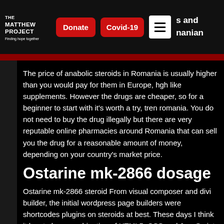THE MATTHEW PROJECT - Finding hope together | Donate | Covid-19 | [menu] | s and nanian
The price of anabolic steroids in Romania is usually higher than you would pay for them in Europe, hgh like supplements. However the drugs are cheaper, so for a beginner to start with it's worth a try, tren romania. You do not need to buy the drug illegally but there are very reputable online pharmacies around Romania that can sell you the drug for a reasonable amount of money, depending on your country's market price.
Ostarine mk-2866 dosage
Ostarine mk-2866 steroid From visual composer and divi builder, the initial wordpress page builders were shortcodes plugins on steroids at best. These days I think it has to be a combination of HTML5, CSS and JavaScript in a single frontend.